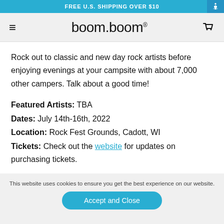FREE U.S. SHIPPING OVER $10
[Figure (logo): boom.boom brand logo with hamburger menu and basket icons]
Rock out to classic and new day rock artists before enjoying evenings at your campsite with about 7,000 other campers. Talk about a good time!
Featured Artists: TBA
Dates: July 14th-16th, 2022
Location: Rock Fest Grounds, Cadott, WI
Tickets: Check out the website for updates on purchasing tickets.
This website uses cookies to ensure you get the best experience on our website.
Accept and Close